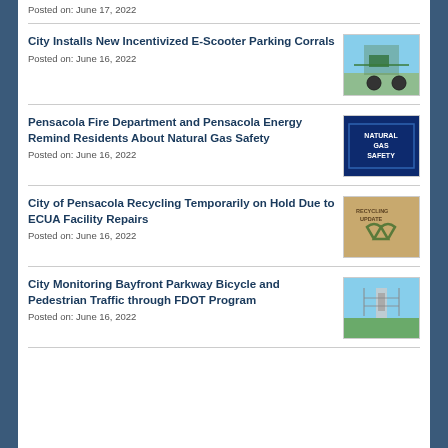Posted on: June 17, 2022
City Installs New Incentivized E-Scooter Parking Corrals
Posted on: June 16, 2022
Pensacola Fire Department and Pensacola Energy Remind Residents About Natural Gas Safety
Posted on: June 16, 2022
City of Pensacola Recycling Temporarily on Hold Due to ECUA Facility Repairs
Posted on: June 16, 2022
City Monitoring Bayfront Parkway Bicycle and Pedestrian Traffic through FDOT Program
Posted on: June 16, 2022